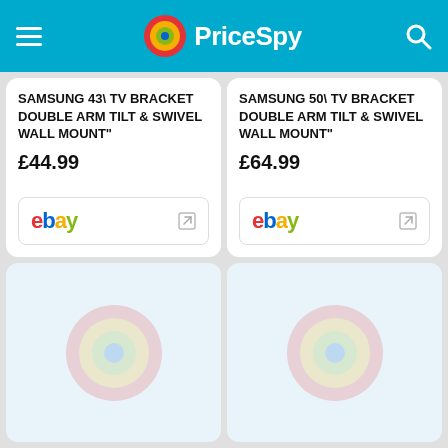PriceSpy
SAMSUNG 43\ TV BRACKET DOUBLE ARM TILT & SWIVEL WALL MOUNT"
£44.99
[Figure (logo): eBay logo with external link icon]
SAMSUNG 50\ TV BRACKET DOUBLE ARM TILT & SWIVEL WALL MOUNT"
£64.99
[Figure (logo): eBay logo with external link icon]
[Figure (other): Loading card with faint PriceSpy logo placeholder]
[Figure (other): Loading card with faint PriceSpy logo placeholder]